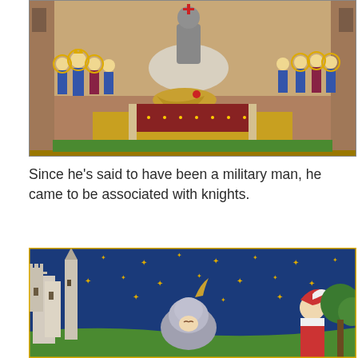[Figure (illustration): Medieval illuminated manuscript depicting a knight on horseback slaying a dragon at center, flanked by groups of courtiers wearing blue and red robes with gold trim, in a palatial setting with checkered floor.]
Since he’s said to have been a military man, he came to be associated with knights.
[Figure (illustration): Medieval illuminated manuscript showing a knight in armor with a feathered helmet lying or kneeling, set against a deep blue star-studded night sky, with white castle towers on the left and a lady in red and white dress on the right, with golden star decorations throughout.]